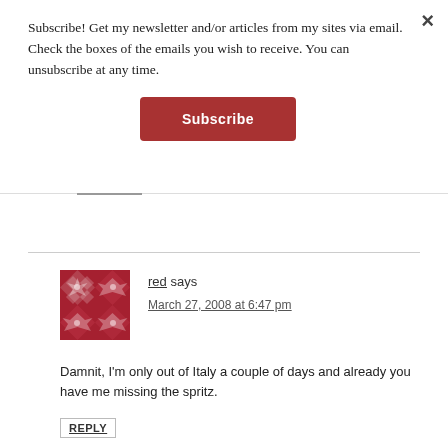×
Subscribe! Get my newsletter and/or articles from my sites via email. Check the boxes of the emails you wish to receive. You can unsubscribe at any time.
Subscribe
red says
March 27, 2008 at 6:47 pm
Damnit, I'm only out of Italy a couple of days and already you have me missing the spritz.
REPLY